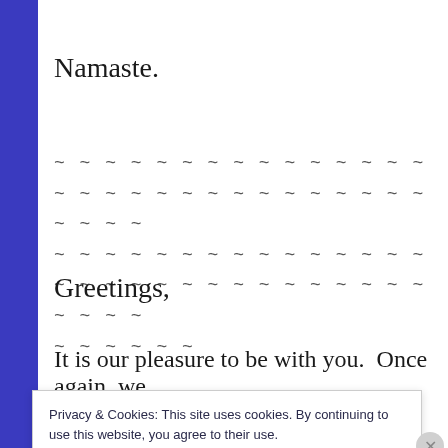Namaste.
~ ~ ~ ~ ~ ~ ~ ~ ~ ~ ~ ~ ~ ~ ~ ~ ~ ~ ~ ~ ~ ~ ~ ~ ~ ~ ~ ~ ~ ~ ~ ~ ~ ~
~ ~ ~ ~ ~ ~ ~ ~ ~ ~ ~ ~ ~ ~ ~ ~ ~ ~ ~ ~ ~ ~ ~ ~ ~ ~ ~ ~ ~ ~ ~ ~ ~ ~
~ ~ ~ ~ ~ ~
Greetings,
It is our pleasure to be with you.  Once again, we
Privacy & Cookies: This site uses cookies. By continuing to use this website, you agree to their use.
To find out more, including how to control cookies, see here:
Cookie Policy
Close and accept